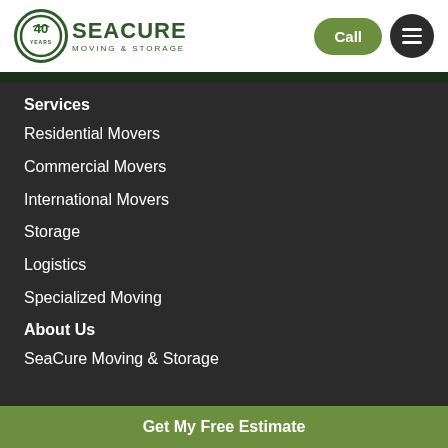[Figure (logo): SeaCure Moving & Storage logo with 40 years circular badge and company name]
Services
Residential Movers
Commercial Movers
International Movers
Storage
Logistics
Specialized Moving
About Us
SeaCure Moving & Storage
Get My Free Estimate